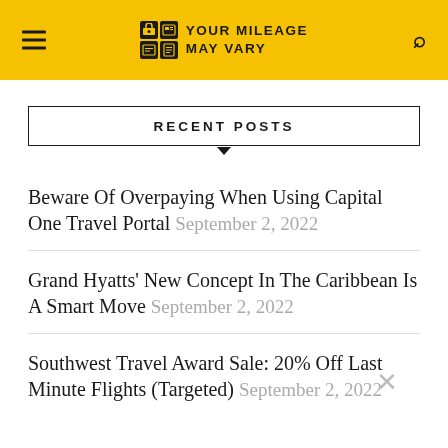YOUR MILEAGE MAY VARY
RECENT POSTS
Beware Of Overpaying When Using Capital One Travel Portal September 2, 2022
Grand Hyatts' New Concept In The Caribbean Is A Smart Move September 2, 2022
Southwest Travel Award Sale: 20% Off Last Minute Flights (Targeted) September 2, 2022